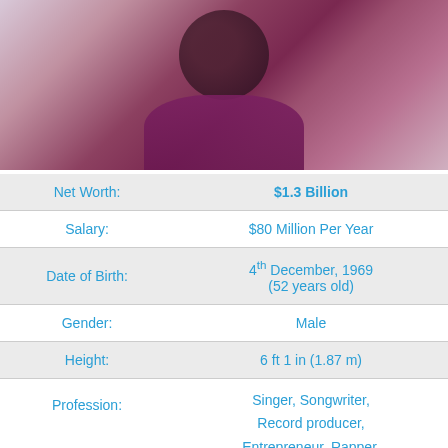[Figure (photo): Photo of a man in a purple/magenta blazer with a gold chain necklace, with dreadlocks, looking upward, against a light background.]
| Field | Value |
| --- | --- |
| Net Worth: | $1.3 Billion |
| Salary: | $80 Million Per Year |
| Date of Birth: | 4th December, 1969 (52 years old) |
| Gender: | Male |
| Height: | 6 ft 1 in (1.87 m) |
| Profession: | Singer, Songwriter, Record producer, Entrepreneur, Rapper, Actor, Film Producer, Television producer |